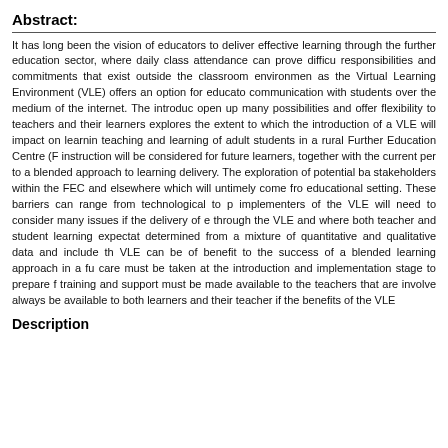Abstract:
It has long been the vision of educators to deliver effective learning through the further education sector, where daily class attendance can prove difficult responsibilities and commitments that exist outside the classroom environment as the Virtual Learning Environment (VLE) offers an option for educators communication with students over the medium of the internet. The introduction open up many possibilities and offer flexibility to teachers and their learners explores the extent to which the introduction of a VLE will impact on learning teaching and learning of adult students in a rural Further Education Centre (F instruction will be considered for future learners, together with the current perception to a blended approach to learning delivery. The exploration of potential barriers stakeholders within the FEC and elsewhere which will untimely come from educational setting. These barriers can range from technological to practical implementers of the VLE will need to consider many issues if the delivery of education through the VLE and where both teacher and student learning expectations are determined from a mixture of quantitative and qualitative data and include the VLE can be of benefit to the success of a blended learning approach in a further care must be taken at the introduction and implementation stage to prepare for training and support must be made available to the teachers that are involved always be available to both learners and their teacher if the benefits of the VLE
Description